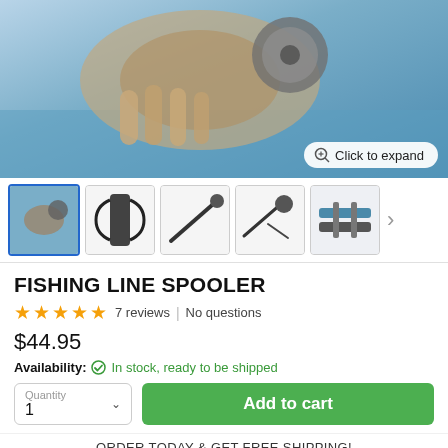[Figure (photo): Main product photo showing a hand holding a fishing rod reel near water, with a blue sky/water background. A 'Click to expand' button overlay is visible in the bottom right.]
[Figure (photo): Thumbnail image carousel showing 5 product images of fishing line spooler tools and components, with a right navigation arrow.]
FISHING LINE SPOOLER
★★★★★ 7 reviews | No questions
$44.95
Availability: In stock, ready to be shipped
Quantity 1  [Add to cart]
ORDER TODAY & GET FREE SHIPPING!
100% NO-RISK MONEY-BACK GUARANTEE